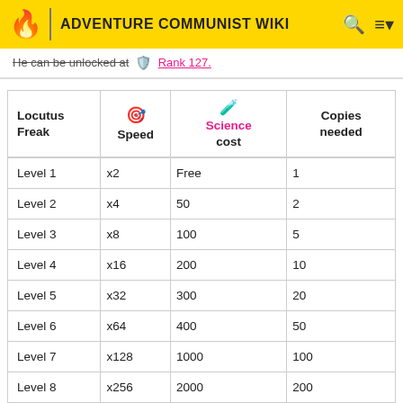ADVENTURE COMMUNIST WIKI
He can be unlocked at Rank 127.
| Locutus Freak | Speed | Science cost | Copies needed |
| --- | --- | --- | --- |
| Level 1 | x2 | Free | 1 |
| Level 2 | x4 | 50 | 2 |
| Level 3 | x8 | 100 | 5 |
| Level 4 | x16 | 200 | 10 |
| Level 5 | x32 | 300 | 20 |
| Level 6 | x64 | 400 | 50 |
| Level 7 | x128 | 1000 | 100 |
| Level 8 | x256 | 2000 | 200 |